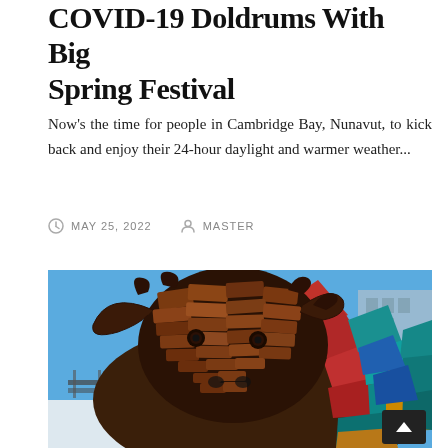COVID-19 Doldrums With Big Spring Festival
Now's the time for people in Cambridge Bay, Nunavut, to kick back and enjoy their 24-hour daylight and warmer weather...
MAY 25, 2022   MASTER
[Figure (photo): Close-up photo of a large musk ox sculpture made from layered pieces of rusted metal and colorful painted metal pieces (red, teal, yellow, blue) on the right side. Blue sky in background with a building visible. A black scroll-to-top button is overlaid at the bottom right corner.]